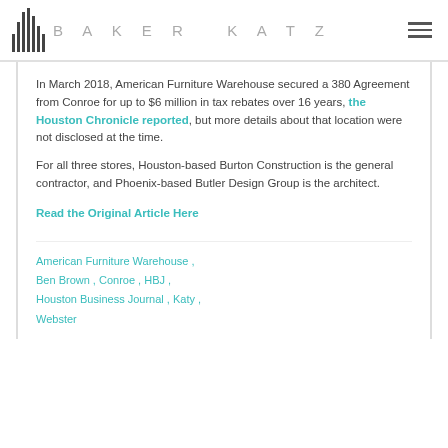BAKER KATZ
In March 2018, American Furniture Warehouse secured a 380 Agreement from Conroe for up to $6 million in tax rebates over 16 years, the Houston Chronicle reported, but more details about that location were not disclosed at the time.
For all three stores, Houston-based Burton Construction is the general contractor, and Phoenix-based Butler Design Group is the architect.
Read the Original Article Here
American Furniture Warehouse , Ben Brown , Conroe , HBJ , Houston Business Journal , Katy , Webster